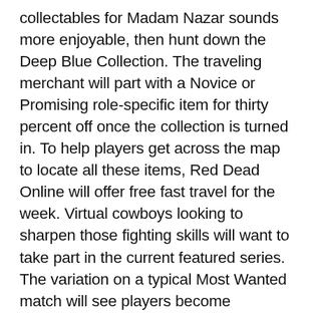collectables for Madam Nazar sounds more enjoyable, then hunt down the Deep Blue Collection. The traveling merchant will part with a Novice or Promising role-specific item for thirty percent off once the collection is turned in. To help players get across the map to locate all these items, Red Dead Online will offer free fast travel for the week. Virtual cowboys looking to sharpen those fighting skills will want to take part in the current featured series. The variation on a typical Most Wanted match will see players become increasingly valuable to opponents while scaling the leaderboard. Would-be challengers can visit fences this week to get access to sharp and exploding weapons – even if those items were outside of the player's rank previously. Likewise, rank requirements for pamphlets, up to rank fifty, have been removed for a limited time. Anyone taking on the featured series through March 8 will earn twice the typical payout of cash and XP. Those